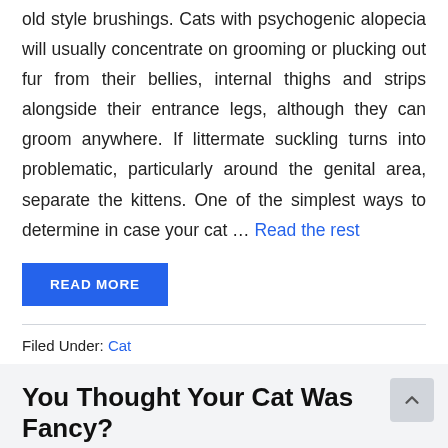old style brushings. Cats with psychogenic alopecia will usually concentrate on grooming or plucking out fur from their bellies, internal thighs and strips alongside their entrance legs, although they can groom anywhere. If littermate suckling turns into problematic, particularly around the genital area, separate the kittens. One of the simplest ways to determine in case your cat … Read the rest
READ MORE
Filed Under: Cat
You Thought Your Cat Was Fancy?